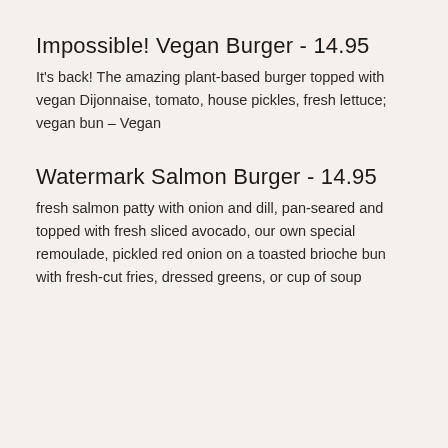Impossible! Vegan Burger - 14.95
It's back! The amazing plant-based burger topped with vegan Dijonnaise, tomato, house pickles, fresh lettuce; vegan bun – Vegan
Watermark Salmon Burger - 14.95
fresh salmon patty with onion and dill, pan-seared and topped with fresh sliced avocado, our own special remoulade, pickled red onion on a toasted brioche bun with fresh-cut fries, dressed greens, or cup of soup